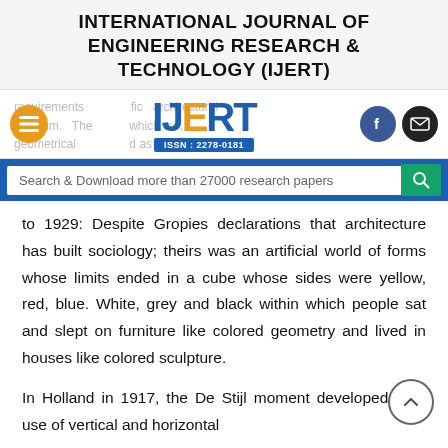INTERNATIONAL JOURNAL OF ENGINEERING RESEARCH & TECHNOLOGY (IJERT)
[Figure (logo): IJERT logo with ISSN 2278-0181, hamburger menu button (orange), Facebook icon, and email icon]
requirements ... specific architectural program. The ... which se... geometrical ... d as a form of
Search & Download more than 27000 research papers
to 1929: Despite Gropies declarations that architecture has built sociology; theirs was an artificial world of forms whose limits ended in a cube whose sides were yellow, red, blue. White, grey and black within which people sat and slept on furniture like colored geometry and lived in houses like colored sculpture.
In Holland in 1917, the De Stijl moment developed. The use of vertical and horizontal